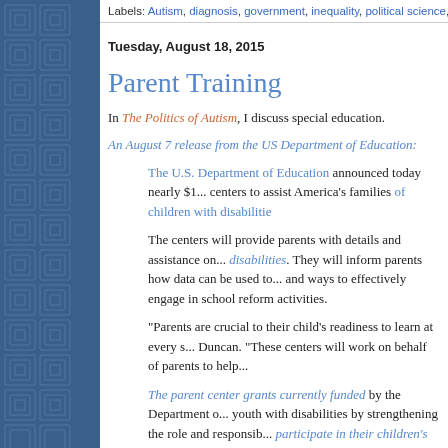Labels: Autism, diagnosis, government, inequality, political science, politics, scree...
Tuesday, August 18, 2015
Parent Training
In The Politics of Autism, I discuss special education.
An August 7 release from the US Department of Education:
The U.S. Department of Education announced today nearly $1... centers to assist America’s families of children with disabilitie...
The centers will provide parents with details and assistance on... disabilities. They will inform parents how data can be used to... and ways to effectively engage in school reform activities.
“Parents are crucial to their child’s readiness to learn at every s... Duncan. “These centers will work on behalf of parents to help...
The parent center grants currently funded by the Department o... youth with disabilities by strengthening the role and responsib... participate in their children’s education.
The grants are being funded by the Office of Special Educatio...